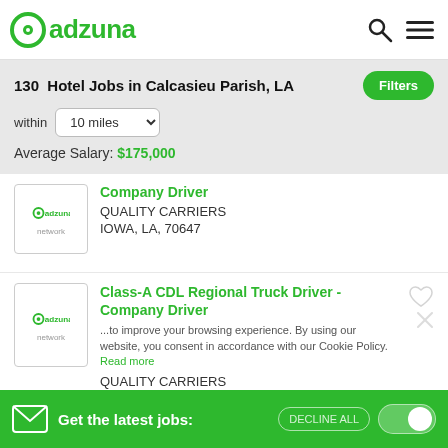adzuna
130 Hotel Jobs in Calcasieu Parish, LA
within 10 miles
Average Salary: $175,000
Company Driver — QUALITY CARRIERS, IOWA, LA, 70647
Class-A CDL Regional Truck Driver - Company Driver — QUALITY CARRIERS, LAKE CHARLES, LA, 70602
Retail Store Manager
Get the latest jobs: